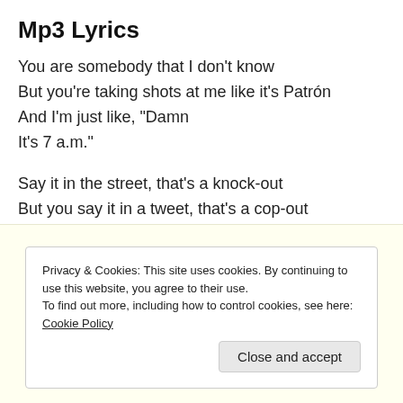Mp3 Lyrics
You are somebody that I don't know
But you're taking shots at me like it's Patrón
And I'm just like, "Damn
It's 7 a.m."
Say it in the street, that's a knock-out
But you say it in a tweet, that's a cop-out
And I'm just like, "Hey
Are you okay?"
Privacy & Cookies: This site uses cookies. By continuing to use this website, you agree to their use.
To find out more, including how to control cookies, see here: Cookie Policy
Close and accept